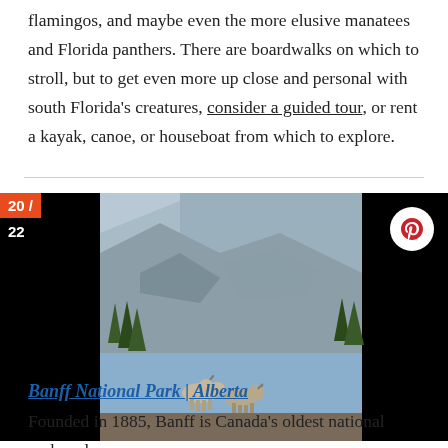flamingos, and maybe even the more elusive manatees and Florida panthers. There are boardwalks on which to stroll, but to get even more up close and personal with south Florida's creatures, consider a guided tour, or rent a kayak, canoe, or houseboat from which to explore.
[Figure (photo): Mountain landscape with two bighorn sheep standing on rocky terrain with evergreen trees and snowy mountain face in background. Slide counter showing 20/22 in top left. Pinterest share button in top right.]
[Figure (screenshot): Video ad overlay showing hands holding a sandwich. Ad label: 'Ad 1 of 1 (0:30)'. Up Next panel showing 'Up Next - Video of the Day: - How to Make the Perfect Classic BLT' on black background. Close button X.]
Banff National Park | Alberta
Founded in 1885, Banff is Canada's oldest national park and a World Heritage Site. It takes a high-elevation landscape called